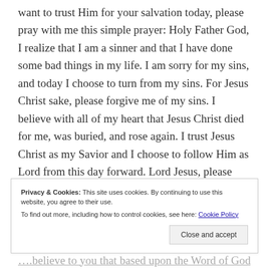want to trust Him for your salvation today, please pray with me this simple prayer: Holy Father God, I realize that I am a sinner and that I have done some bad things in my life. I am sorry for my sins, and today I choose to turn from my sins. For Jesus Christ sake, please forgive me of my sins. I believe with all of my heart that Jesus Christ died for me, was buried, and rose again. I trust Jesus Christ as my Savior and I choose to follow Him as Lord from this day forward. Lord Jesus, please come into my heart and save my soul and change my life
Privacy & Cookies: This site uses cookies. By continuing to use this website, you agree to their use. To find out more, including how to control cookies, see here: Cookie Policy
Close and accept
…believe to you that based upon the Word of God, you are